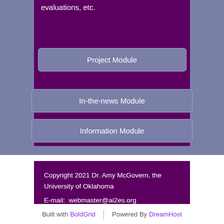evaluations, etc.
Project Module
In-the-news Module
Information Module
Copyright 2021 Dr. Amy McGovern, the University of Oklahoma
E-mail:  webmaster@ai2es.org
Built with BoldGrid  |  Powered By DreamHost